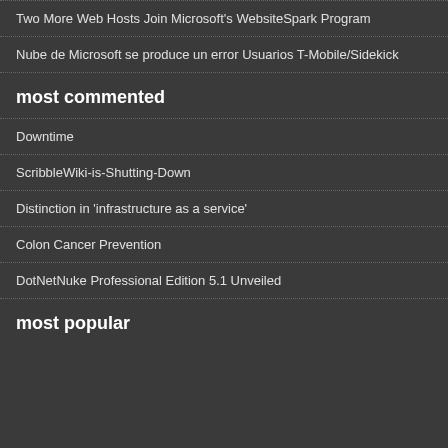Two More Web Hosts Join Microsoft's WebsiteSpark Program
Nube de Microsoft se produce un error Usuarios T-Mobile/Sidekick
most commented
Downtime
ScribbleWiki-is-Shutting-Down
Distinction in 'infrastructure as a service'
Colon Cancer Prevention
DotNetNuke Professional Edition 5.1 Unveiled
most popular